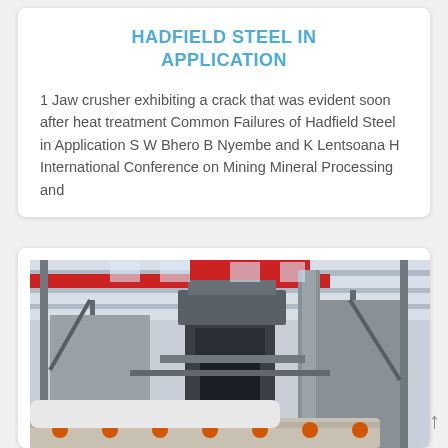HADFIELD STEEL IN APPLICATION
1 Jaw crusher exhibiting a crack that was evident soon after heat treatment Common Failures of Hadfield Steel in Application S W Bhero B Nyembe and K Lentsoana H International Conference on Mining Mineral Processing and
[Figure (photo): Industrial mining or mineral processing facility interior showing heavy machinery, conveyors, and structural steel framework under a large warehouse roof with red crane beams visible.]